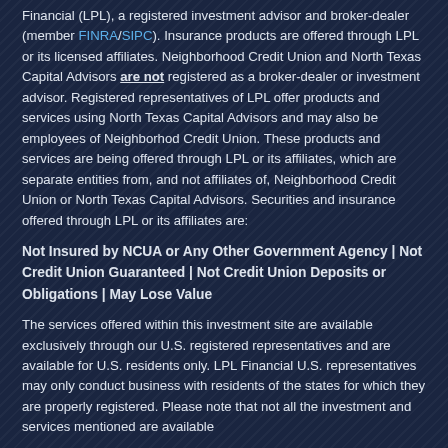Financial (LPL), a registered investment advisor and broker-dealer (member FINRA/SIPC). Insurance products are offered through LPL or its licensed affiliates. Neighborhood Credit Union and North Texas Capital Advisors are not registered as a broker-dealer or investment advisor. Registered representatives of LPL offer products and services using North Texas Capital Advisors and may also be employees of Neighborhod Credit Union. These products and services are being offered through LPL or its affiliates, which are separate entities from, and not affiliates of, Neighborhood Credit Union or North Texas Capital Advisors. Securities and insurance offered through LPL or its affiliates are:
Not Insured by NCUA or Any Other Government Agency | Not Credit Union Guaranteed | Not Credit Union Deposits or Obligations | May Lose Value
The services offered within this investment site are available exclusively through our U.S. registered representatives and are available for U.S. residents only. LPL Financial U.S. representatives may only conduct business with residents of the states for which they are properly registered. Please note that not all the investment and services mentioned are available